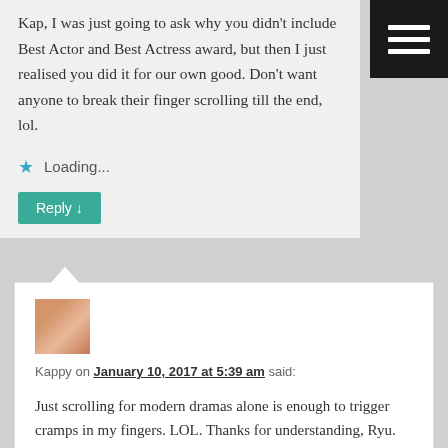[Figure (other): Hamburger menu icon button, dark background with three white horizontal bars, top-right corner]
Kap, I was just going to ask why you didn't include Best Actor and Best Actress award, but then I just realised you did it for our own good. Don't want anyone to break their finger scrolling till the end, lol.
Loading...
Reply ↓
[Figure (photo): Small avatar photo of a person]
Kappy on January 10, 2017 at 5:39 am said:
Just scrolling for modern dramas alone is enough to trigger cramps in my fingers. LOL. Thanks for understanding, Ryu.